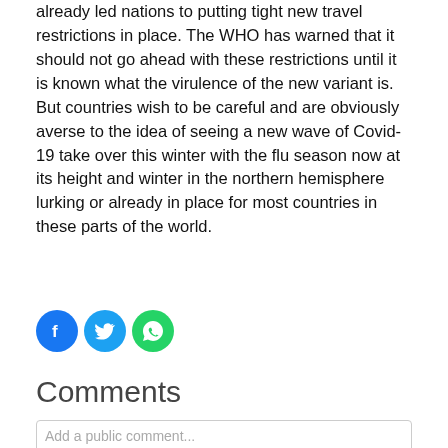already led nations to putting tight new travel restrictions in place. The WHO has warned that it should not go ahead with these restrictions until it is known what the virulence of the new variant is. But countries wish to be careful and are obviously averse to the idea of seeing a new wave of Covid-19 take over this winter with the flu season now at its height and winter in the northern hemisphere lurking or already in place for most countries in these parts of the world.
[Figure (other): Social sharing icons: Facebook (blue circle), Twitter (light blue circle), WhatsApp (green circle)]
Comments
Add a public comment...